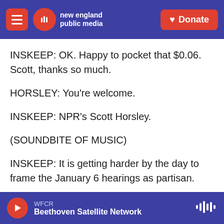new england public media | Donate
INSKEEP: OK. Happy to pocket that $0.06. Scott, thanks so much.
HORSLEY: You're welcome.
INSKEEP: NPR's Scott Horsley.
(SOUNDBITE OF MUSIC)
INSKEEP: It is getting harder by the day to frame the January 6 hearings as partisan.
FADEL: At each hearing, the strongest testimony
WFCR Beethoven Satellite Network